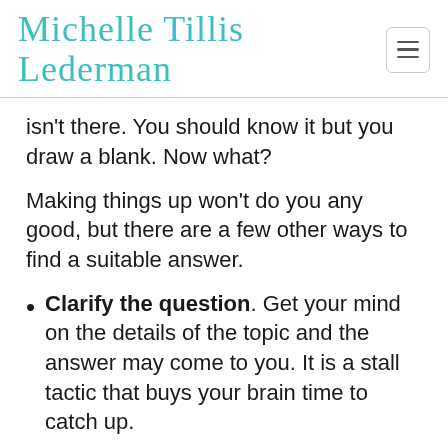Michelle Tillis Lederman
isn't there. You should know it but you draw a blank. Now what?
Making things up won't do you any good, but there are a few other ways to find a suitable answer.
Clarify the question. Get your mind on the details of the topic and the answer may come to you. It is a stall tactic that buys your brain time to catch up.
Postpone. Tell them you don't have the info at hand or you want to